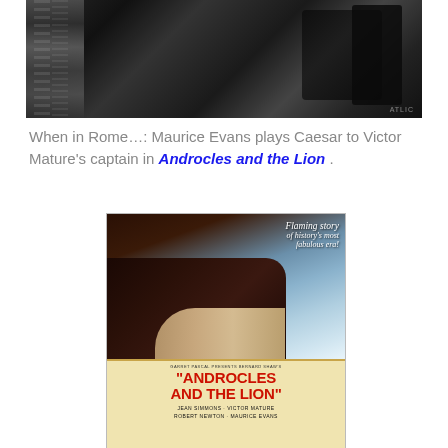[Figure (photo): Black and white film still showing ornate Roman costumes and set decoration]
When in Rome…: Maurice Evans plays Caesar to Victor Mature's captain in Androcles and the Lion .
[Figure (photo): Movie poster for 'Androcles and the Lion' showing dramatic scene with couple embracing, women reclining, Roman columns in background. Text reads: Flaming story of history's most fabulous era! GARRET PASCAL presents BERNARD SHAW'S 'ANDROCLES AND THE LION' JEAN SIMMONS · VICTOR MATURE ROBERT NEWTON · MAURICE EVANS]